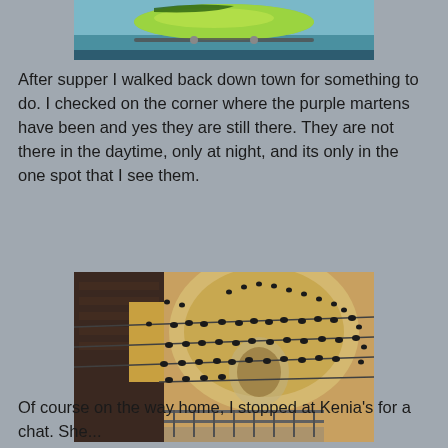[Figure (photo): Partial photo at top of page showing what appears to be a colorful fish (mahi-mahi/dorado) on a boat, with green/yellow coloring visible]
After supper I walked back down town for something to do.  I checked on the corner where the purple martens have been and yes they are still there.  They are not there in the daytime, only at night, and its only in the one spot that I see them.
[Figure (photo): Photo of a building corner/dome at night covered with many small birds (purple martins) perched on wires and ledges around an ornate architectural structure]
Of course on the way home, I stopped at Kenia's for a chat. She...